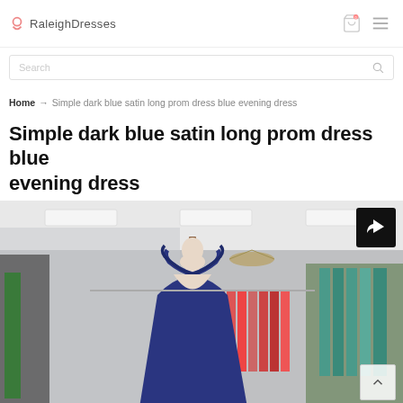RaleighDresses
Search
Home → Simple dark blue satin long prom dress blue evening dress
Simple dark blue satin long prom dress blue evening dress
[Figure (photo): Photo of a dark navy blue satin prom/evening dress on a mannequin in a dress store, showing the v-neck bodice with thin straps. Store background shows racks of colorful dresses.]